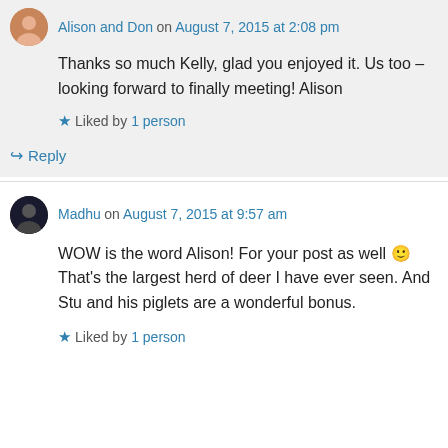Alison and Don on August 7, 2015 at 2:08 pm
Thanks so much Kelly, glad you enjoyed it. Us too – looking forward to finally meeting! Alison
Liked by 1 person
Reply
Madhu on August 7, 2015 at 9:57 am
WOW is the word Alison! For your post as well 🙂 That's the largest herd of deer I have ever seen. And Stu and his piglets are a wonderful bonus.
Liked by 1 person